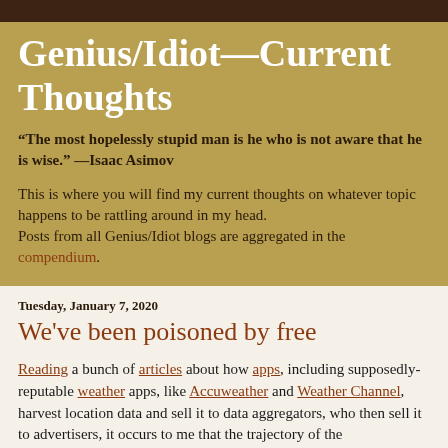Genius/Idiot—Current Thoughts
“The most hopelessly stupid man is he who is not aware that he is wise.” —Isaac Asimov
This is where you will find my current thoughts on whatever topic happens to be rattling around in my head.
Posts from all Genius/Idiot blogs are aggregated in the compendium.
Tuesday, January 7, 2020
We've been poisoned by free
Reading a bunch of articles about how apps, including supposedly-reputable weather apps, like Accuweather and Weather Channel, harvest location data and sell it to data aggregators, who then sell it to advertisers, it occurs to me that the trajectory of the